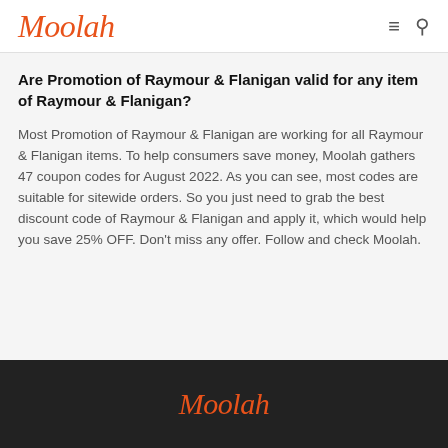Moolah
Are Promotion of Raymour & Flanigan valid for any item of Raymour & Flanigan?
Most Promotion of Raymour & Flanigan are working for all Raymour & Flanigan items. To help consumers save money, Moolah gathers 47 coupon codes for August 2022. As you can see, most codes are suitable for sitewide orders. So you just need to grab the best discount code of Raymour & Flanigan and apply it, which would help you save 25% OFF. Don't miss any offer. Follow and check Moolah.
Moolah